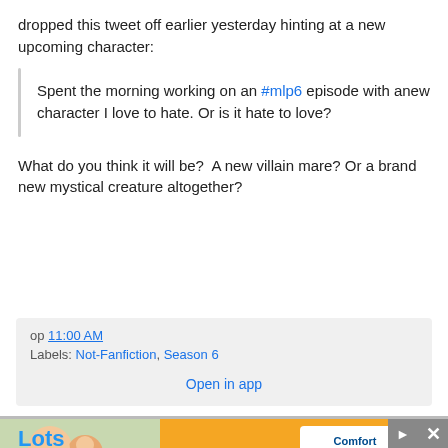dropped this tweet off earlier yesterday hinting at a new upcoming character:
Spent the morning working on an #mlp6 episode with anew character I love to hate. Or is it hate to love?
What do you think it will be?  A new villain mare? Or a brand new mystical creature altogether?
op 11:00 AM
Labels: Not-Fanfiction, Season 6
Open in app
[Figure (other): Advertisement banner for Comfort Keepers with orange background and photo of two people smiling]